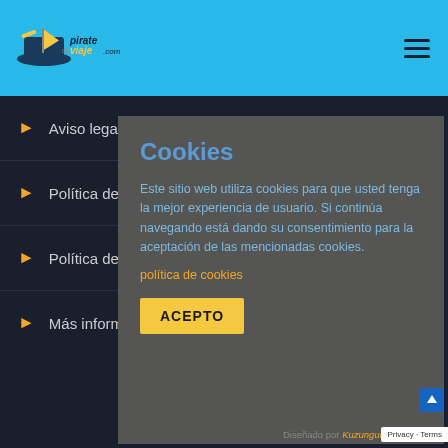[Figure (screenshot): Website header with blue background, pirate travel logo on left, hamburger menu icon on right]
Aviso legal
Política de privac...
Política de Cooki...
Más información...
Cookies
Este sitio web utiliza cookies para que usted tenga la mejor experiencia de usuario. Si continúa navegando está dando su consentimiento para la aceptación de las mencionadas cookies.
política de cookies
ACEPTO
Diseñado por Kuzunguka
Privacy · Terms